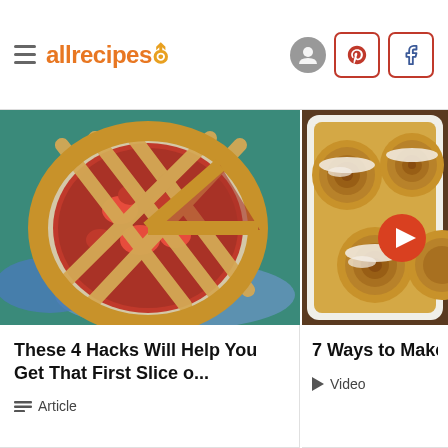allrecipes
[Figure (photo): Strawberry lattice pie on a white plate with blue floral napkin]
These 4 Hacks Will Help You Get That First Slice o...
Article
[Figure (photo): Cinnamon rolls with white icing glaze in a baking dish, with orange arrow button overlay]
7 Ways to Make a Cinnamon Rolls Ta
Video